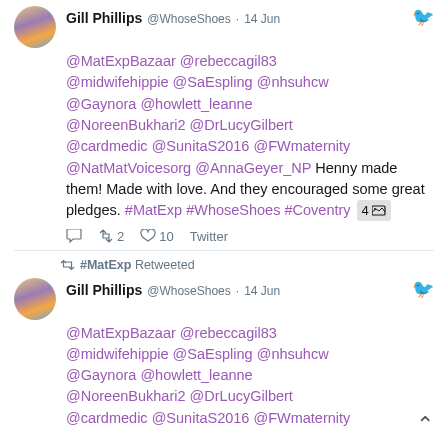[Figure (screenshot): Twitter/social media feed showing tweets from Gill Phillips (@WhoseShoes)]
Gill Phillips @WhoseShoes · 14 Jun — @MatExpBazaar @rebeccagil83 @midwifehippie @SaEspling @nhsuhcw @Gaynora @howlett_leanne @NoreenBukhari2 @DrLucyGilbert @cardmedic @SunitaS2016 @FWmaternity @NatMatVoicesorg @AnnaGeyer_NP Henny made them! Made with love. And they encouraged some great pledges. #MatExp #WhoseShoes #Coventry 4[image]
Reply 0, Retweet 2, Like 10, Twitter
#MatExp Retweeted
Gill Phillips @WhoseShoes · 14 Jun — @MatExpBazaar @rebeccagil83 @midwifehippie @SaEspling @nhsuhcw @Gaynora @howlett_leanne @NoreenBukhari2 @DrLucyGilbert @cardmedic @SunitaS2016 @FWmaternity